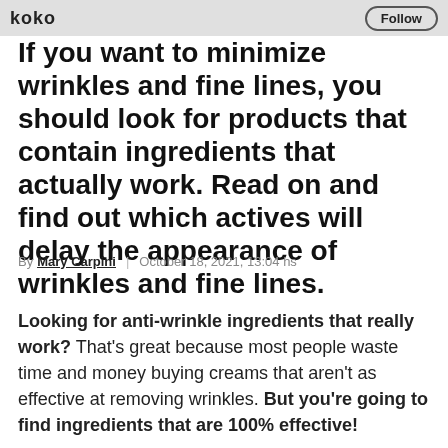koko | Follow
If you want to minimize wrinkles and fine lines, you should look for products that contain ingredients that actually work. Read on and find out which actives will delay the appearance of wrinkles and fine lines.
By Mary Carpini | October 18, 2021, 13:04 hs
Looking for anti-wrinkle ingredients that really work? That's great because most people waste time and money buying creams that aren't as effective at removing wrinkles. But you're going to find ingredients that are 100% effective!